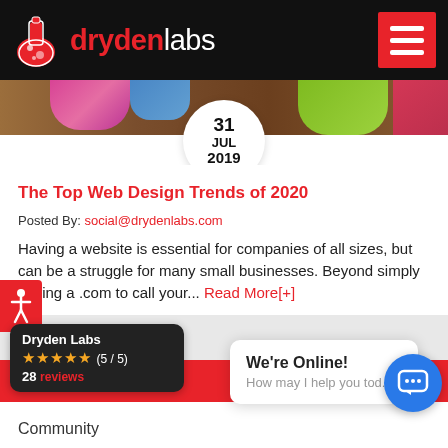dryden labs
[Figure (photo): Colorful flowers on wooden background with a date badge showing 31 JUL 2019]
The Top Web Design Trends of 2020
Posted By: social@drydenlabs.com
Having a website is essential for companies of all sizes, but can be a struggle for many small businesses. Beyond simply having a .com to call your... Read More[+]
[Figure (screenshot): Chat widget showing 'We're Online! How may I help you tod...' with a blue chat circle button]
CATEGORIES
Dryden Labs
★★★★★ (5 / 5)
28 reviews
Community